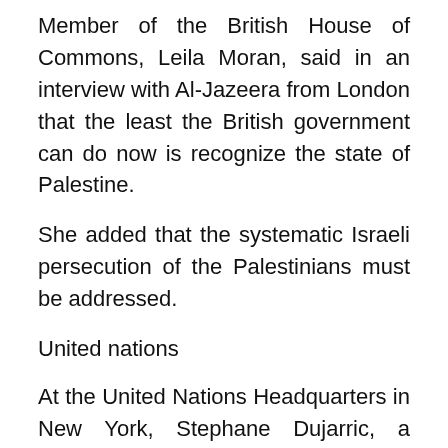Member of the British House of Commons, Leila Moran, said in an interview with Al-Jazeera from London that the least the British government can do now is recognize the state of Palestine.
She added that the systematic Israeli persecution of the Palestinians must be addressed.
United nations
At the United Nations Headquarters in New York, Stephane Dujarric, a spokesman for the Secretary-General of the United Na[Close X], said that an independent investigation into the killing of our colleague Shireen Abu Akleh